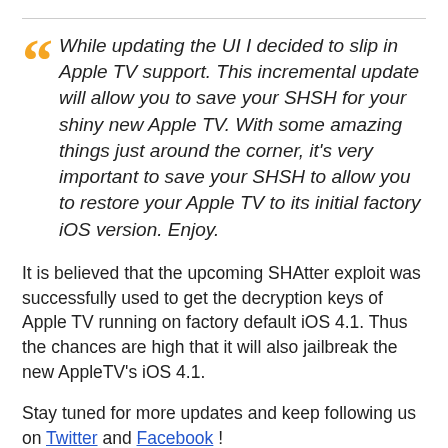While updating the UI I decided to slip in Apple TV support. This incremental update will allow you to save your SHSH for your shiny new Apple TV. With some amazing things just around the corner, it's very important to save your SHSH to allow you to restore your Apple TV to its initial factory iOS version. Enjoy.
It is believed that the upcoming SHAtter exploit was successfully used to get the decryption keys of Apple TV running on factory default iOS 4.1. Thus the chances are high that it will also jailbreak the new AppleTV's iOS 4.1.
Stay tuned for more updates and keep following us on Twitter and Facebook !
Download TinyUmbrella v4.1.5